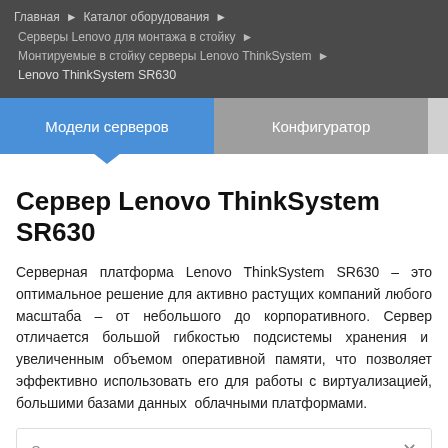Главная › Каталог оборудования › Серверы Lenovo для монтажа в стойку › Монтируемые в стойку серверы Lenovo ThinkSystem › Lenovo ThinkSystem SR630
Сервер Lenovo ThinkSystem SR630
Серверная платформа Lenovo ThinkSystem SR630 – это оптимальное решение для активно растущих компаний любого масштаба – от небольшого до корпоративного. Сервер отличается большой гибкостью подсистемы хранения и  увеличенным объемом оперативной памяти, что позволяет эффективно использовать его для работы с виртуализацией, большими базами данных  облачными платформами.
Сортировка по умолчанию